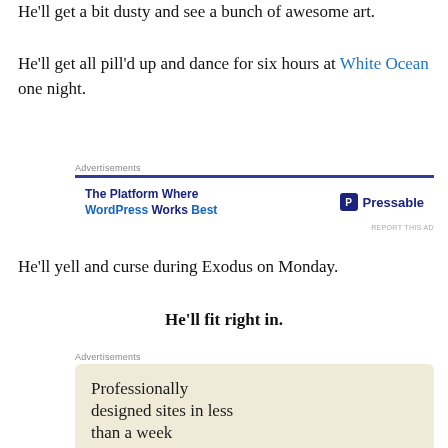He'll get a bit dusty and see a bunch of awesome art.
He'll get all pill'd up and dance for six hours at White Ocean one night.
[Figure (infographic): Advertisements banner for Pressable: 'The Platform Where WordPress Works Best' with Pressable logo]
He'll yell and curse during Exodus on Monday.
He'll fit right in.
[Figure (infographic): Advertisements banner: 'Professionally designed sites in less than a week' with Explore options button and device mockup]